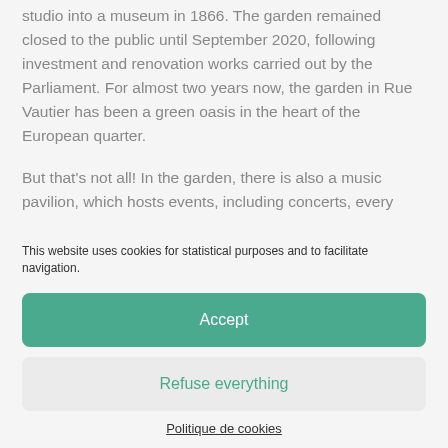studio into a museum in 1866. The garden remained closed to the public until September 2020, following investment and renovation works carried out by the Parliament. For almost two years now, the garden in Rue Vautier has been a green oasis in the heart of the European quarter.
But that's not all! In the garden, there is also a music pavilion, which hosts events, including concerts, every
This website uses cookies for statistical purposes and to facilitate navigation.
Accept
Refuse everything
Politique de cookies